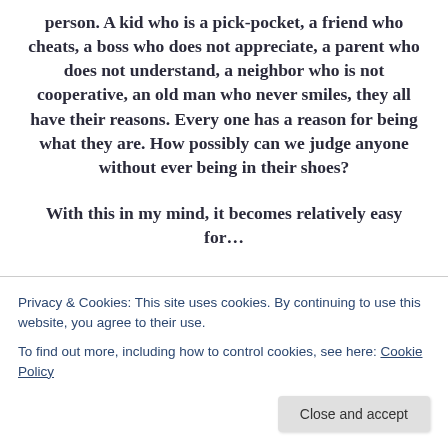person. A kid who is a pick-pocket, a friend who cheats, a boss who does not appreciate, a parent who does not understand, a neighbor who is not cooperative, an old man who never smiles, they all have their reasons. Every one has a reason for being what they are. How possibly can we judge anyone without ever being in their shoes?
With this in my mind, it becomes relatively easy for…
Privacy & Cookies: This site uses cookies. By continuing to use this website, you agree to their use.
To find out more, including how to control cookies, see here: Cookie Policy